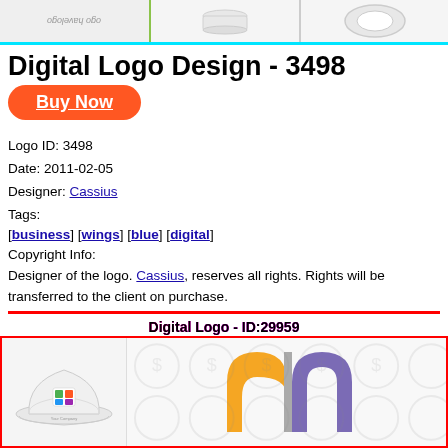[Figure (photo): Top banner with three segments: rotated logo text on left, white cylindrical object in center, partial circular object on right, separated by colored borders]
Digital Logo Design - 3498
Buy Now
Logo ID: 3498
Date: 2011-02-05
Designer: Cassius
Tags:
[business] [wings] [blue] [digital]
Copyright Info:
Designer of the logo. Cassius, reserves all rights. Rights will be transferred to the client on purchase.
Digital Logo - ID:29959
[Figure (photo): Bottom banner showing a white baseball cap with colorful logo on the left, and an abstract geometric logo (orange and blue/purple angular shapes) on the right with circular watermark pattern background]